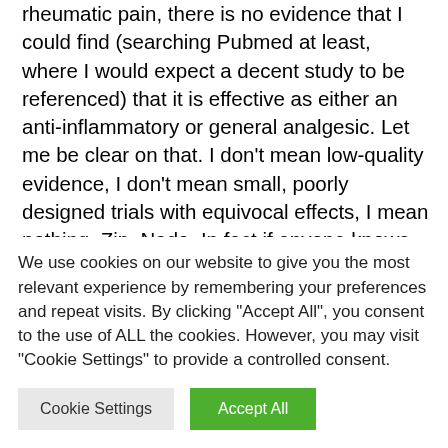rheumatic pain, there is no evidence that I could find (searching Pubmed at least, where I would expect a decent study to be referenced) that it is effective as either an anti-inflammatory or general analgesic. Let me be clear on that. I don't mean low-quality evidence, I don't mean small, poorly designed trials with equivocal effects, I mean nothing. Zip. Nada. In fact if anyone knows of any let me know because I find this complete lack quite surprising. I'm open to the idea that I was looking in the wrong place or was using incorrect search terms. So, unless there is late breaking news, it fails on that count as
We use cookies on our website to give you the most relevant experience by remembering your preferences and repeat visits. By clicking "Accept All", you consent to the use of ALL the cookies. However, you may visit "Cookie Settings" to provide a controlled consent.